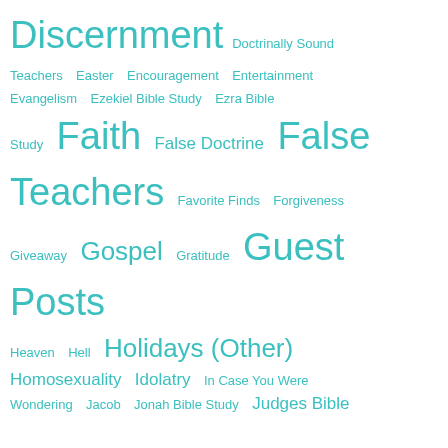[Figure (infographic): Tag cloud of blog/website category labels in teal/turquoise color on white background. Tags vary in font size indicating frequency: Discernment, Doctrinally Sound, Teachers, Easter, Encouragement, Entertainment, Evangelism, Ezekiel Bible Study, Ezra Bible Study, Faith, False Doctrine, False Teachers, Favorite Finds, Forgiveness, Giveaway, Gospel, Gratitude, Guest Posts, Heaven, Hell, Holidays (Other), Homosexuality, Idolatry, In Case You Were Wondering, Jacob, Jonah Bible Study, Judges Bible Study, Justice, Mailbag, Mark Bible Study, Marriage, Men, Ministry, Missions, Movies, New Apostolic Reformation, New Testament, Obedience, OHCW Women's]